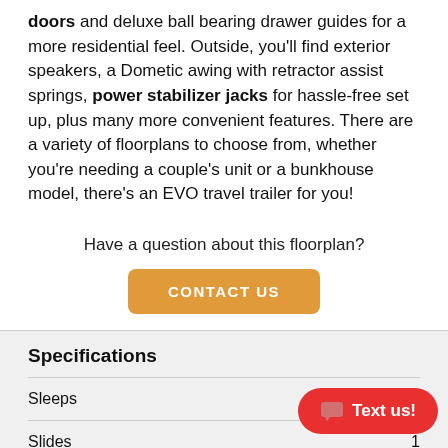doors and deluxe ball bearing drawer guides for a more residential feel. Outside, you'll find exterior speakers, a Dometic awing with retractor assist springs, power stabilizer jacks for hassle-free set up, plus many more convenient features. There are a variety of floorplans to choose from, whether you're needing a couple's unit or a bunkhouse model, there's an EVO travel trailer for you!
Have a question about this floorplan?
CONTACT US
Specifications
|  |  |
| --- | --- |
| Sleeps | 6 |
| Slides | 1 |
| Length | 28 |
| Ext Width | 8 ft |